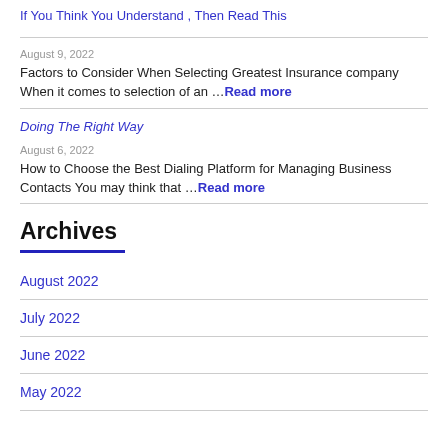If You Think You Understand , Then Read This
August 9, 2022
Factors to Consider When Selecting Greatest Insurance company When it comes to selection of an …Read more
Doing The Right Way
August 6, 2022
How to Choose the Best Dialing Platform for Managing Business Contacts You may think that …Read more
Archives
August 2022
July 2022
June 2022
May 2022